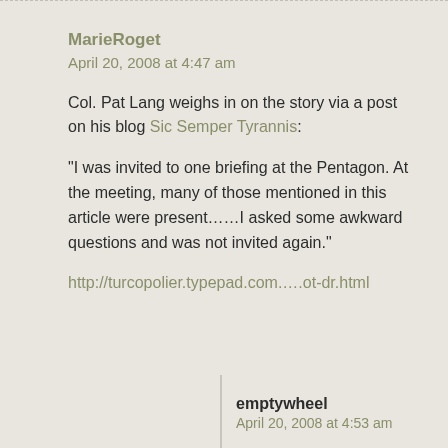MarieRoget
April 20, 2008 at 4:47 am
Col. Pat Lang weighs in on the story via a post on his blog Sic Semper Tyrannis:
“I was invited to one briefing at the Pentagon. At the meeting, many of those mentioned in this article were present……I asked some awkward questions and was not invited again.”
http://turcopolier.typepad.com.…..ot-dr.html
emptywheel
April 20, 2008 at 4:53 am